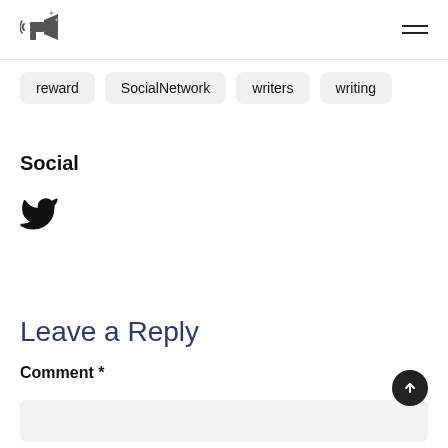Logo icon and hamburger menu
reward
SocialNetwork
writers
writing
Social
[Figure (illustration): Twitter bird icon]
Leave a Reply
Comment *